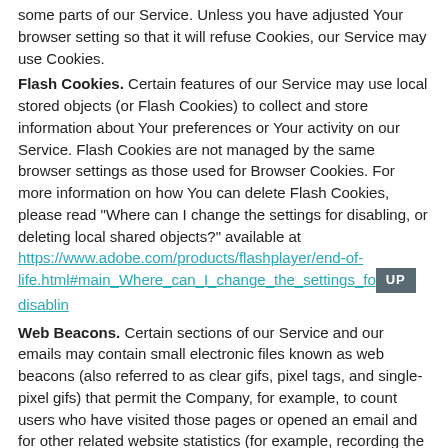some parts of our Service. Unless you have adjusted Your browser setting so that it will refuse Cookies, our Service may use Cookies.
Flash Cookies. Certain features of our Service may use local stored objects (or Flash Cookies) to collect and store information about Your preferences or Your activity on our Service. Flash Cookies are not managed by the same browser settings as those used for Browser Cookies. For more information on how You can delete Flash Cookies, please read "Where can I change the settings for disabling, or deleting local shared objects?" available at https://www.adobe.com/products/flashplayer/end-of-life.html#main_Where_can_I_change_the_settings_for_disabling
Web Beacons. Certain sections of our Service and our emails may contain small electronic files known as web beacons (also referred to as clear gifs, pixel tags, and single-pixel gifs) that permit the Company, for example, to count users who have visited those pages or opened an email and for other related website statistics (for example, recording the popularity of a certain section and verifying system and server integrity).